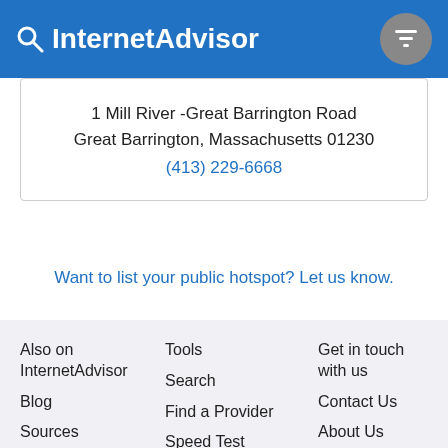InternetAdvisor
1 Mill River -Great Barrington Road
Great Barrington, Massachusetts 01230
(413) 229-6668
Want to list your public hotspot? Let us know.
Also on InternetAdvisor
Blog
Sources
Learn About Us
Tools
Search
Find a Provider
Speed Test
Internet Speed...
Get in touch with us
Contact Us
About Us
Privacy Policy